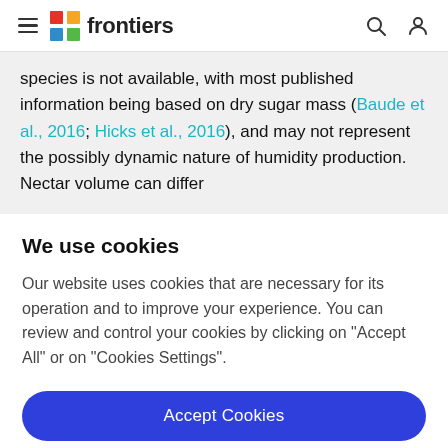frontiers
species is not available, with most published information being based on dry sugar mass (Baude et al., 2016; Hicks et al., 2016), and may not represent the possibly dynamic nature of humidity production. Nectar volume can differ
We use cookies
Our website uses cookies that are necessary for its operation and to improve your experience. You can review and control your cookies by clicking on "Accept All" or on "Cookies Settings".
Accept Cookies
Cookies Settings